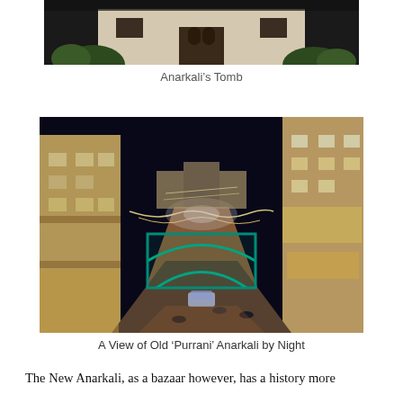[Figure (photo): Partial top portion of a photo showing Anarkali's Tomb building exterior with plants and a doorway, dark background]
Anarkali’s Tomb
[Figure (photo): Aerial night view of Old 'Purrani' Anarkali bazaar illuminated with bright lights, decorated arches, busy street scene with people and buildings on both sides]
A View of Old ‘Purrani’ Anarkali by Night
The New Anarkali, as a bazaar however, has a history more